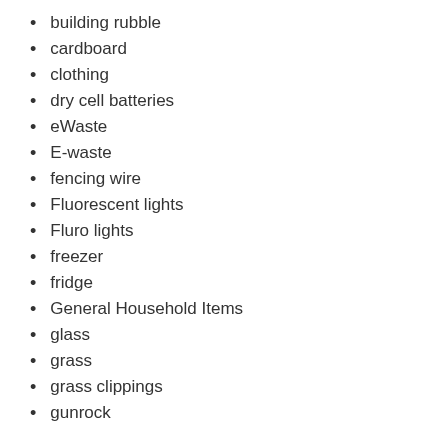building rubble
cardboard
clothing
dry cell batteries
eWaste
E-waste
fencing wire
Fluorescent lights
Fluro lights
freezer
fridge
General Household Items
glass
grass
grass clippings
gunrock (partial)